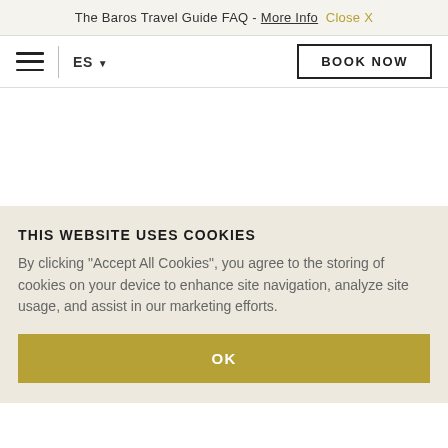The Baros Travel Guide FAQ - More Info  Close X
ES ▼
BOOK NOW
THIS WEBSITE USES COOKIES
By clicking "Accept All Cookies", you agree to the storing of cookies on your device to enhance site navigation, analyze site usage, and assist in our marketing efforts.
OK